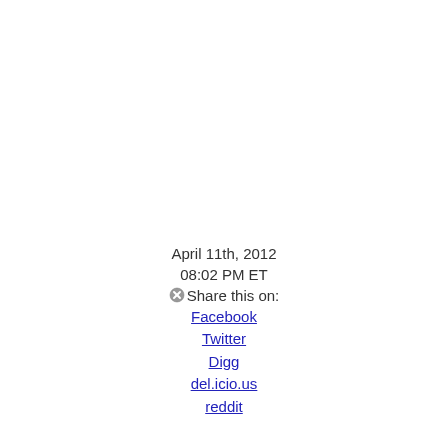April 11th, 2012
08:02 PM ET
Share this on:
Facebook
Twitter
Digg
del.icio.us
reddit